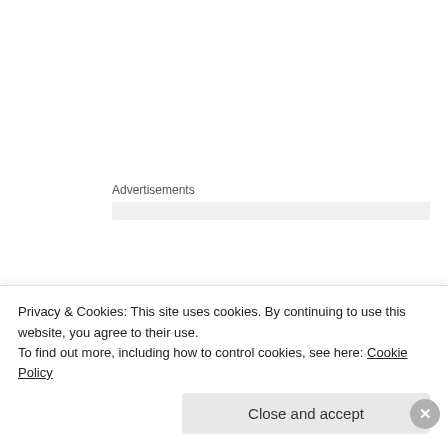Advertisements
Be accountable
It's very easy to lose momentum when you are trying to complete something as massive as a book, so be accountable. Whether you join a writing group, use an online community, find a book buddy or update your progress on your blog, make sure people know you are on a mission to make a dream come true and they will be there to support you from start to launch!
Privacy & Cookies: This site uses cookies. By continuing to use this website, you agree to their use.
To find out more, including how to control cookies, see here: Cookie Policy
Close and accept